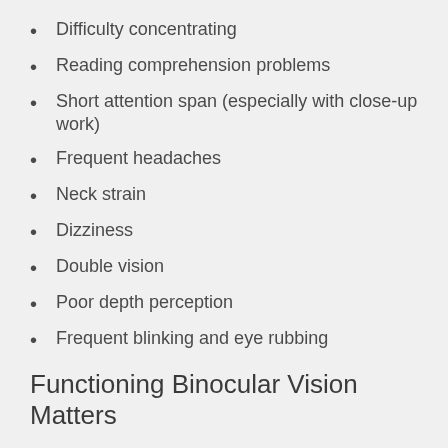Difficulty concentrating
Reading comprehension problems
Short attention span (especially with close-up work)
Frequent headaches
Neck strain
Dizziness
Double vision
Poor depth perception
Frequent blinking and eye rubbing
Functioning Binocular Vision Matters
We don't just need our eyes to work individually, we need them to work as a team, which is called binocular vision. If you close one eye, then the other, you will notice that you see things from a slightly different angle because of the distance between your eyes. Our brains